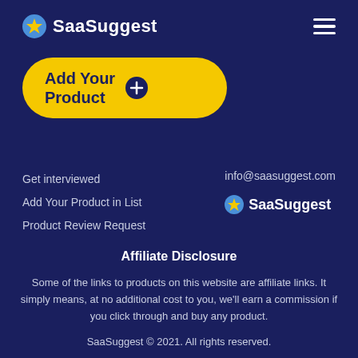SaaSuggest
[Figure (logo): SaaSuggest logo with star icon and hamburger menu icon on dark blue background]
[Figure (other): Yellow rounded button labeled 'Add Your Product' with a plus circle icon]
Get interviewed
Add Your Product in List
Product Review Request
info@saasuggest.com
[Figure (logo): SaaSuggest footer logo with star icon]
Affiliate Disclosure
Some of the links to products on this website are affiliate links. It simply means, at no additional cost to you, we'll earn a commission if you click through and buy any product.
SaaSuggest © 2021. All rights reserved.